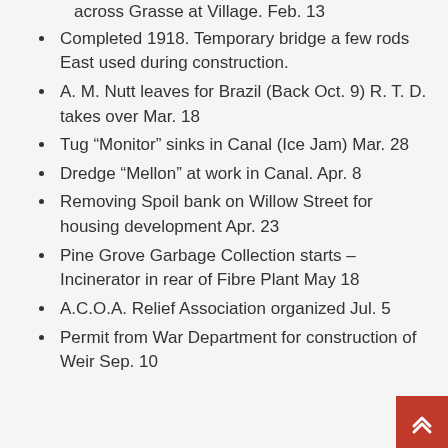across Grasse at Village. Feb. 13
Completed 1918. Temporary bridge a few rods East used during construction.
A. M. Nutt leaves for Brazil (Back Oct. 9) R. T. D. takes over Mar. 18
Tug “Monitor” sinks in Canal (Ice Jam) Mar. 28
Dredge “Mellon” at work in Canal. Apr. 8
Removing Spoil bank on Willow Street for housing development Apr. 23
Pine Grove Garbage Collection starts – Incinerator in rear of Fibre Plant May 18
A.C.O.A. Relief Association organized Jul. 5
Permit from War Department for construction of Weir Sep. 10